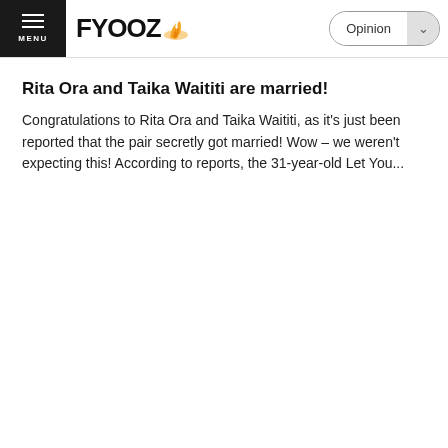FYOOZ — Opinion
Rita Ora and Taika Waititi are married!
Congratulations to Rita Ora and Taika Waititi, as it's just been reported that the pair secretly got married! Wow – we weren't expecting this! According to reports, the 31-year-old Let You...